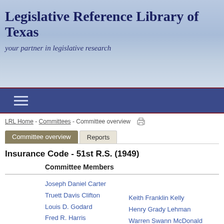Legislative Reference Library of Texas
your partner in legislative research
LRL Home - Committees - Committee overview
Committee overview | Reports
Insurance Code - 51st R.S. (1949)
Committee Members
Joseph Daniel Carter
Truett Davis Clifton
Louis D. Godard
Fred R. Harris
Grady Hazlewood
James McDonald Heflin
Keith Franklin Kelly
Henry Grady Lehman
Warren Swann McDonald
William T. 'Bill' Moore
George C. Morris